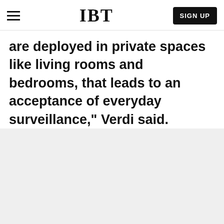IBT
are deployed in private spaces like living rooms and bedrooms, that leads to an acceptance of everyday surveillance," Verdi said.